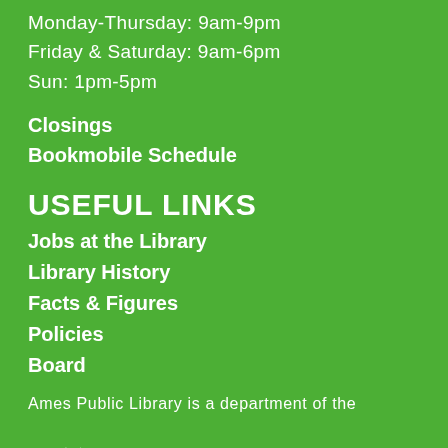Monday-Thursday: 9am-9pm
Friday & Saturday: 9am-6pm
Sun: 1pm-5pm
Closings
Bookmobile Schedule
USEFUL LINKS
Jobs at the Library
Library History
Facts & Figures
Policies
Board
Ames Public Library is a department of the
[Figure (logo): City of Ames logo with white mountain/triangle shape and text 'CITY OF Ames']